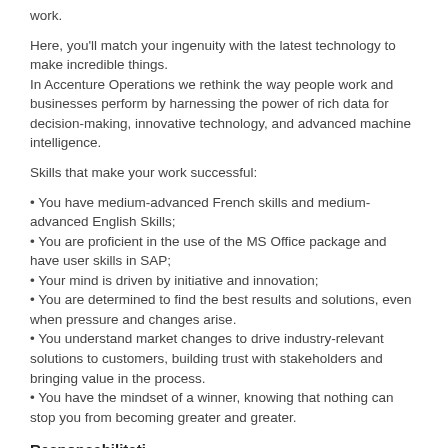work.
Here, you'll match your ingenuity with the latest technology to make incredible things.
In Accenture Operations we rethink the way people work and businesses perform by harnessing the power of rich data for decision-making, innovative technology, and advanced machine intelligence.
Skills that make your work successful:
• You have medium-advanced French skills and medium-advanced English Skills;
• You are proficient in the use of the MS Office package and have user skills in SAP;
• Your mind is driven by initiative and innovation;
• You are determined to find the best results and solutions, even when pressure and changes arise.
• You understand market changes to drive industry-relevant solutions to customers, building trust with stakeholders and bringing value in the process.
• You have the mindset of a winner, knowing that nothing can stop you from becoming greater and greater.
Responsabilitati
Every day is a process of growth, being responsible of: